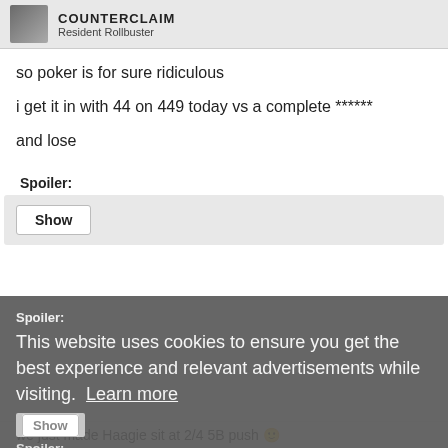COUNTERCLAIM
Resident Rollbuster
so poker is for sure ridiculous
i get it in with 44 on 449 today vs a complete ******
and lose
Spoiler: [Show]
Spoiler: [Show] — cookie overlay: This website uses cookies to ensure you get the best experience and relevant advertisements while visiting. Learn more — Spoiler: [Show] [Got it!]
we just made Haagie sit at 2/4 5B push 🙂